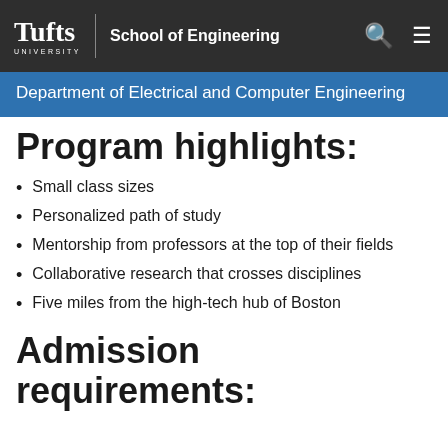Tufts University | School of Engineering
Department of Electrical and Computer Engineering
Program highlights:
Small class sizes
Personalized path of study
Mentorship from professors at the top of their fields
Collaborative research that crosses disciplines
Five miles from the high-tech hub of Boston
Admission requirements: